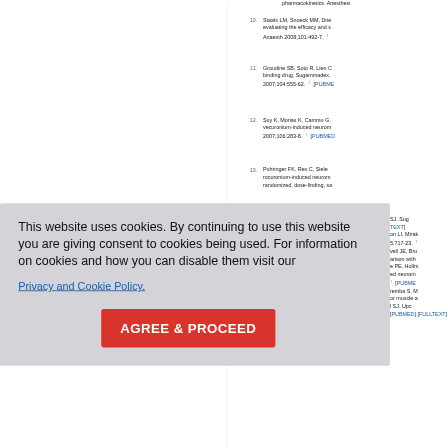pharmacokinetics. Anesthesi
10. Staals LM, Snoeck MM, Drie... evaluating the efficacy and s... Anaesth 2008;101:492-7. ↑
11. Groudine SB, Soto R, Lien C... binding drug, Sugammadex,... 2007;104:555-62. ↑ [PUBME
12. Suy K, Morias K, Cammu G,... vecuronium-induced neurom... 2007;106:283-8. ↑ [PUBMED
13. Puhringer FK, Rex C, Siele... rocuronium-induced neurom... randomized, dose-finding, sa
SJ. Sug
TEXT]
on LI, Mirak
5:717-23.
vell JE, Br
arison with
e PE, Hollm
ed neurom
↑ [PUBME
remba S, M
or muscle a
l SJ. Upc
[PUBMED] [FULLTEXT]
This website uses cookies. By continuing to use this website you are giving consent to cookies being used. For information on cookies and how you can disable them visit our
Privacy and Cookie Policy.
AGREE & PROCEED